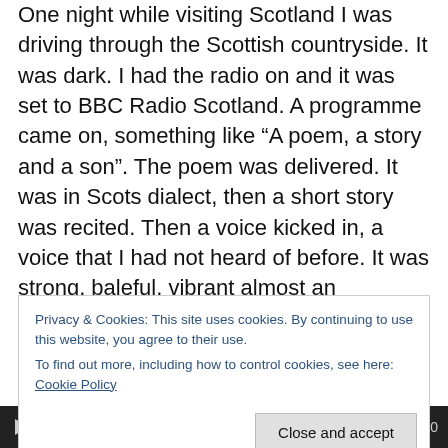One night while visiting Scotland I was driving through the Scottish countryside. It was dark. I had the radio on and it was set to BBC Radio Scotland. A programme came on, something like “A poem, a story and a son”. The poem was delivered. It was in Scots dialect, then a short story was recited. Then a voice kicked in, a voice that I had not heard of before. It was strong, baleful, vibrant almost an instrument in itself. It was weird and different. I paid close attention to the singer – Jim Reid. I asked my mum about it and she confirmed that this guy had an ‘Unusual tone.” My aunt died shortly after that and I was due to return to
Privacy & Cookies: This site uses cookies. By continuing to use this website, you agree to their use.
To find out more, including how to control cookies, see here: Cookie Policy